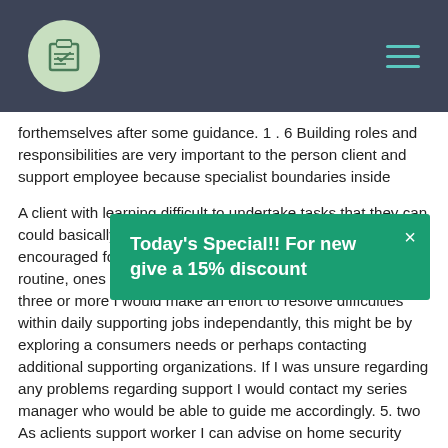[Navigation header with logo and menu icon]
forthemselves after some guidance. 1 . 6 Building roles and responsibilities are very important to the person client and support employee because specialist boundaries inside
[Figure (infographic): Green popup banner reading: Today's Special!! For new give a 15% discount, with an X close button]
A client with learning difficult to undertake tasks that they can could basically achieve independantly and should be encouraged for this but as well clients blossom from having routine, ones own displayed within the autistic range. 2 . three or more I would make an effort to resolve difficulties within daily supporting jobs independantly, this might be by exploring a consumers needs or perhaps contacting additional supporting organizations. If I was unsure regarding any problems regarding support I would contact my series manager who would be able to guide me accordingly. 5. two As aclients support worker I can advise on home security upon many levels.
Initially upon safety in the home, involving safe preparing food skills, guidance on heating system thier residence, keeping this clean and tidy. I would cause them to become lock doors and windows and not to spread out the door to stangers, specially in